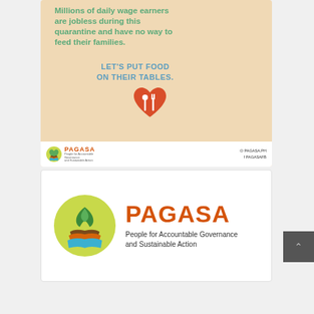[Figure (infographic): PAGASA infographic on beige background. Large green bold text: 'Millions of daily wage earners are jobless during this quarantine and have no way to feed their families.' Teal bold text: 'LET'S PUT FOOD ON THEIR TABLES.' Red heart icon with fork and spoon. Bottom white bar with PAGASA logo and social media handles @PAGASA.PH and PAGASAFB.]
[Figure (logo): PAGASA logo: circular emblem with a green plant/leaves rising from colorful layered shapes (green, brown, orange, blue) on a yellow-green background. Text 'PAGASA' in large orange letters. Tagline: 'People for Accountable Governance and Sustainable Action'.]